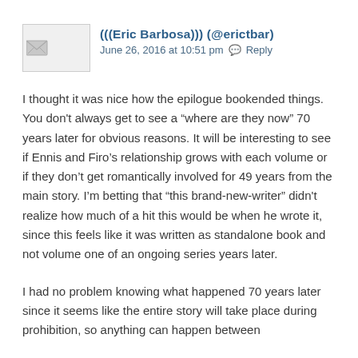(((Eric Barbosa))) (@erictbar)
June 26, 2016 at 10:51 pm  Reply
I thought it was nice how the epilogue bookended things. You don't always get to see a “where are they now” 70 years later for obvious reasons. It will be interesting to see if Ennis and Firo’s relationship grows with each volume or if they don’t get romantically involved for 49 years from the main story. I’m betting that “this brand-new-writer” didn't realize how much of a hit this would be when he wrote it, since this feels like it was written as standalone book and not volume one of an ongoing series years later.
I had no problem knowing what happened 70 years later since it seems like the entire story will take place during prohibition, so anything can happen between